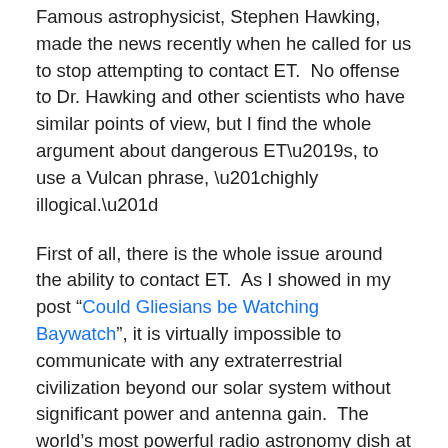Famous astrophysicist, Stephen Hawking, made the news recently when he called for us to stop attempting to contact ET.  No offense to Dr. Hawking and other scientists who have similar points of view, but I find the whole argument about dangerous ET’s, to use a Vulcan phrase, “highly illogical.”
First of all, there is the whole issue around the ability to contact ET.  As I showed in my post “Could Gliesians be Watching Baywatch”, it is virtually impossible to communicate with any extraterrestrial civilization beyond our solar system without significant power and antenna gain.  The world’s most powerful radio astronomy dish at Arecibo has a gain of 60 dB, which means that it could barely detect a 100 kilowatt non-directional signal generated from a planet 20 light years away, such as Gliese 581g, but only if it were pointed right at it.  More to